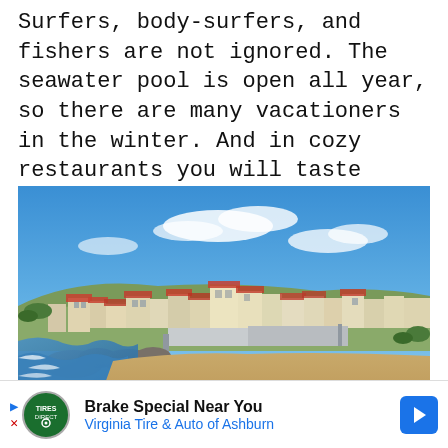Surfers, body-surfers, and fishers are not ignored. The seawater pool is open all year, so there are many vacationers in the winter. And in cozy restaurants you will taste national cuisine.
[Figure (photo): Aerial/elevated panoramic view of a coastal town with sandy beach, white-capped ocean waves on the left, sandy beach in the foreground, and a cluster of white and terracotta-roofed buildings under a bright blue sky with scattered white clouds.]
Brake Special Near You Virginia Tire & Auto of Ashburn